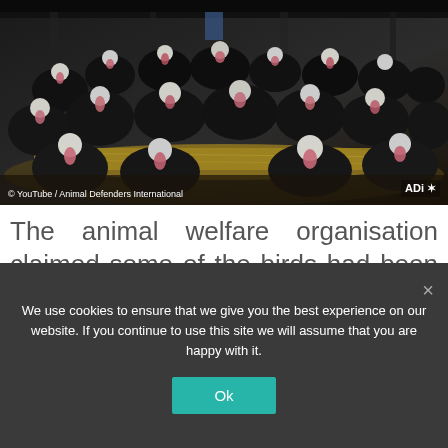[Figure (photo): A large flock of black turkeys crowded together in a barn with straw on the floor. ADI (Animal Defenders International) logo visible in the bottom right corner of the image.]
© YouTube / Animal Defenders International
The animal welfare organisation claimed some of the birds had been mistreated
We use cookies to ensure that we give you the best experience on our website. If you continue to use this site we will assume that you are happy with it.